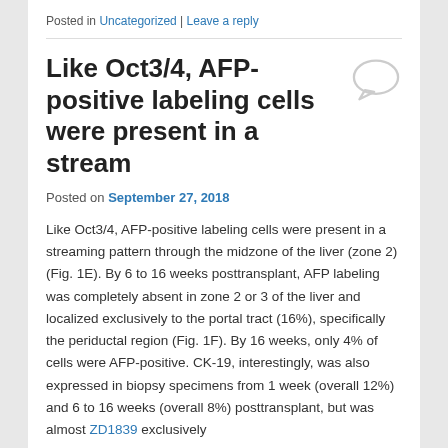Posted in Uncategorized | Leave a reply
Like Oct3/4, AFP-positive labeling cells were present in a stream
Posted on September 27, 2018
Like Oct3/4, AFP-positive labeling cells were present in a streaming pattern through the midzone of the liver (zone 2) (Fig. 1E). By 6 to 16 weeks posttransplant, AFP labeling was completely absent in zone 2 or 3 of the liver and localized exclusively to the portal tract (16%), specifically the periductal region (Fig. 1F). By 16 weeks, only 4% of cells were AFP-positive. CK-19, interestingly, was also expressed in biopsy specimens from 1 week (overall 12%) and 6 to 16 weeks (overall 8%) posttransplant, but was almost ZD1839 exclusively